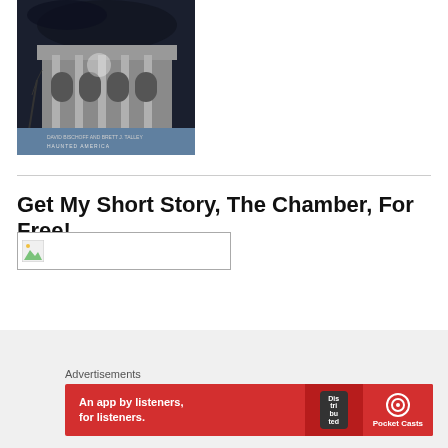[Figure (photo): Book cover showing a haunted-looking mansion/building at night with dark sky. Authors: David Bischoff and Brett J. Talley. Series: Haunted America.]
Get My Short Story, The Chamber, For Free!
[Figure (screenshot): Broken image placeholder with small icon, inside a rectangular border]
Advertisements
[Figure (screenshot): Red advertisement banner for Pocket Casts app — 'An app by listeners, for listeners.' with Pocket Casts logo and smartphone graphic showing 'Distributed' text]